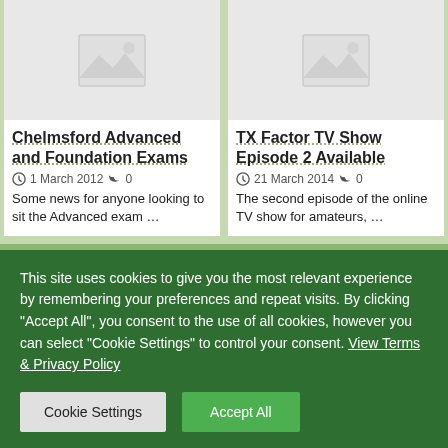[Figure (photo): Placeholder image icon for Chelmsford Advanced and Foundation Exams article]
[Figure (photo): Placeholder image icon for TX Factor TV Show Episode 2 Available article]
Chelmsford Advanced and Foundation Exams
1 March 2012  0
Some news for anyone looking to sit the Advanced exam …
TX Factor TV Show Episode 2 Available
21 March 2014  0
The second episode of the online TV show for amateurs, …
< PREVIOUS POST
NEXT POST >
This site uses cookies to give you the most relevant experience by remembering your preferences and repeat visits. By clicking "Accept All", you consent to the use of all cookies, however you can select "Cookie Settings" to control your consent. View Terms & Privacy Policy
Cookie Settings
Accept All